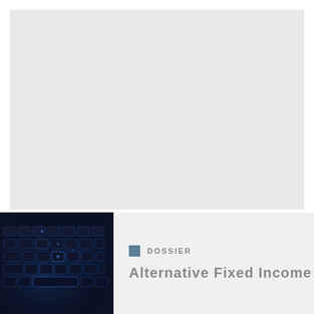[Figure (photo): Large light gray placeholder image area occupying the top portion of the page]
[Figure (photo): Close-up photograph of a computer keyboard with blue LED backlighting on dark keys]
DOSSIER
Alternative Fixed Income